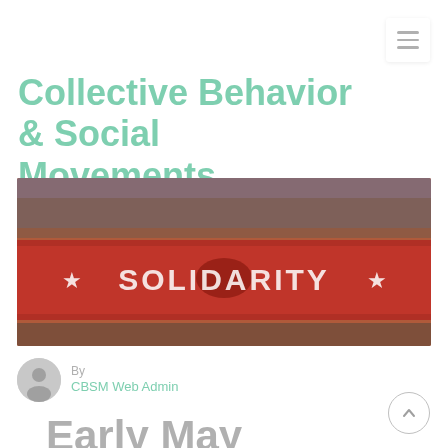Collective Behavior & Social Movements
American Sociological Association
[Figure (photo): Crowd of protesters holding a large red banner reading SOLIDARITY with stars on either side]
By
CBSM Web Admin
Early May